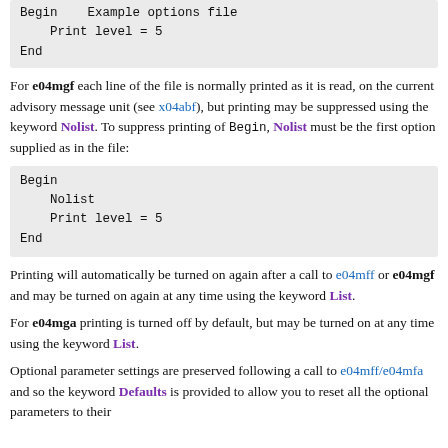[Figure (screenshot): Code block showing: Begin    Example options file
    Print level = 5
End]
For e04mgf each line of the file is normally printed as it is read, on the current advisory message unit (see x04abf), but printing may be suppressed using the keyword Nolist. To suppress printing of Begin, Nolist must be the first option supplied as in the file:
[Figure (screenshot): Code block showing:
Begin
    Nolist
    Print level = 5
End]
Printing will automatically be turned on again after a call to e04mff or e04mgf and may be turned on again at any time using the keyword List.
For e04mga printing is turned off by default, but may be turned on at any time using the keyword List.
Optional parameter settings are preserved following a call to e04mff/e04mfa and so the keyword Defaults is provided to allow you to reset all the optional parameters to their